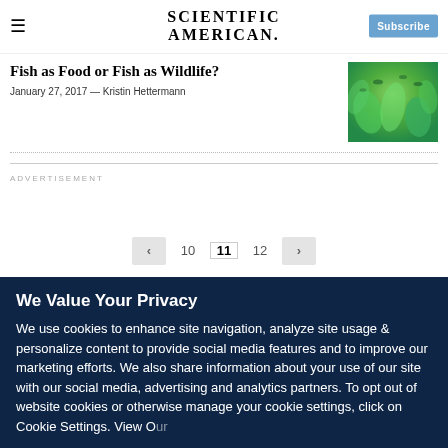SCIENTIFIC AMERICAN
Fish as Food or Fish as Wildlife?
January 27, 2017 — Kristin Hettermann
[Figure (photo): Aerial or underwater photo of fish in green water]
ADVERTISEMENT
10  11  12
We Value Your Privacy
We use cookies to enhance site navigation, analyze site usage & personalize content to provide social media features and to improve our marketing efforts. We also share information about your use of our site with our social media, advertising and analytics partners. To opt out of website cookies or otherwise manage your cookie settings, click on Cookie Settings. View Our